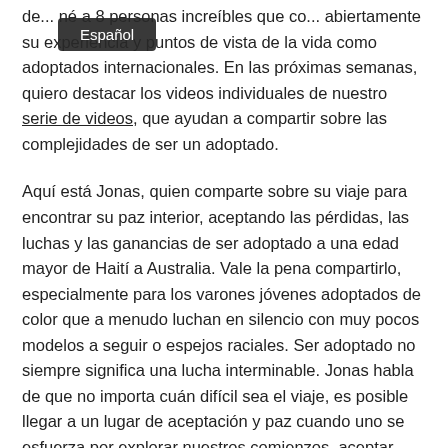de... né a 8 personas increíbles que co... abiertamente su experiencia y puntos de vista de la vida como adoptados internacionales. En las próximas semanas, quiero destacar los videos individuales de nuestro serie de videos, que ayudan a compartir sobre las complejidades de ser un adoptado.
Aquí está Jonas, quien comparte sobre su viaje para encontrar su paz interior, aceptando las pérdidas, las luchas y las ganancias de ser adoptado a una edad mayor de Haití a Australia. Vale la pena compartirlo, especialmente para los varones jóvenes adoptados de color que a menudo luchan en silencio con muy pocos modelos a seguir o espejos raciales. Ser adoptado no siempre significa una lucha interminable. Jonas habla de que no importa cuán difícil sea el viaje, es posible llegar a un lugar de aceptación y paz cuando uno se esfuerza por explorar nuestros comienzos, aceptar nuestras